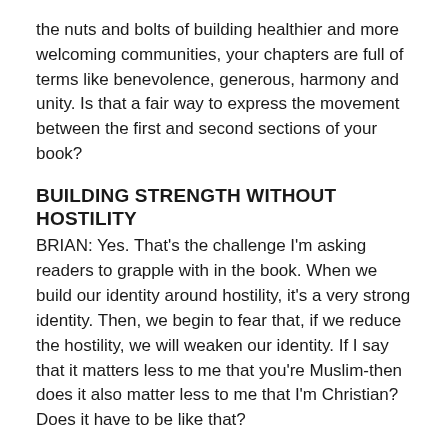the nuts and bolts of building healthier and more welcoming communities, your chapters are full of terms like benevolence, generous, harmony and unity. Is that a fair way to express the movement between the first and second sections of your book?
BUILDING STRENGTH WITHOUT HOSTILITY
BRIAN: Yes. That's the challenge I'm asking readers to grapple with in the book. When we build our identity around hostility, it's a very strong identity. Then, we begin to fear that, if we reduce the hostility, we will weaken our identity. If I say that it matters less to me that you're Muslim- then does it also matter less to me that I'm Christian? Does it have to be like that?
I think the phrase "spiritual but not religious" is one sign people are giving that they want to end the hostility that they perceive is part of "religion." We can build a strong and benevolent society-we can choose to do that and pursue it.